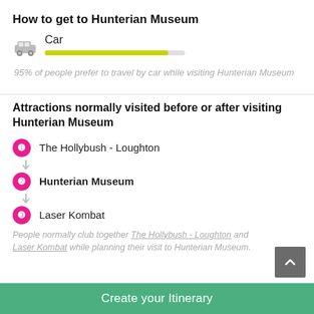How to get to Hunterian Museum
[Figure (infographic): Car icon with yellow-green progress bar representing 95% preference for car travel]
95% of people prefer to travel by car while visiting Hunterian Museum
Attractions normally visited before or after visiting Hunterian Museum
1. The Hollybush - Loughton
2. Hunterian Museum
3. Laser Kombat
People normally club together The Hollybush - Loughton and Laser Kombat while planning their visit to Hunterian Museum.
Create your Itinerary